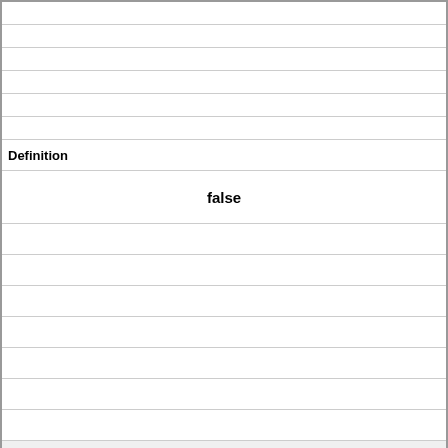| Definition |
| --- |
|  |
|  |
|  |
|  |
|  |
| false |
|  |
|  |
|  |
|  |
|  |
|  |
|  |
|  |
|  |
| Term |
| --- |
| 7)"Which is the definition of a host file?
A -A local file on a computer used to map IP addresses to domain names |